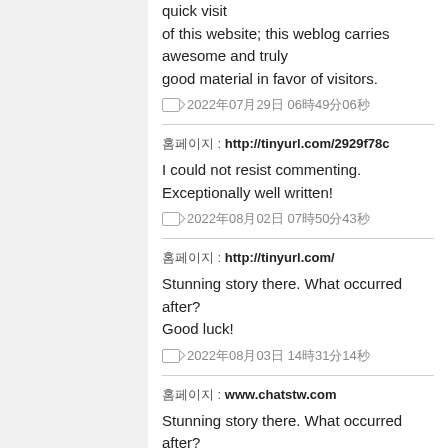quick visit
of this website; this weblog carries awesome and truly
good material in favor of visitors.
2022年07月29日 06時49分06秒
홈페이지 : http://tinyurl.com/2929f78c
I could not resist commenting. Exceptionally well written!
2022年08月02日 07時50分43秒
홈페이지 : http://tinyurl.com/
Stunning story there. What occurred after? Good luck!
2022年08月03日 14時31分14秒
홈페이지 : www.chatstw.com
Stunning story there. What occurred after?